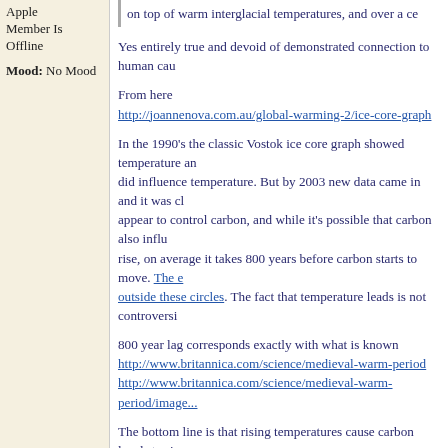Apple
Member Is Offline
Mood: No Mood
on top of warm interglacial temperatures, and over a ce
Yes entirely true and devoid of demonstrated connection to human cau
From here
http://joannenova.com.au/global-warming-2/ice-core-graph
In the 1990's the classic Vostok ice core graph showed temperature and did influence temperature. But by 2003 new data came in and it was cl appear to control carbon, and while it's possible that carbon also influ rise, on average it takes 800 years before carbon starts to move. The e outside these circles. The fact that temperature leads is not controversi
800 year lag corresponds exactly with what is known
http://www.britannica.com/science/medieval-warm-period
http://www.britannica.com/science/medieval-warm-period/image...
The bottom line is that rising temperatures cause carbon levels to rise. factors caused each other to rise significantly, positive feedback would other factor is more important than carbon dioxide, or carbon's role is
Anyway this is all academic. As I already said , climatology is as signi without a verifiable premise , should come to pass the technical fix is n But don't count on it , none of us will be alive to see this anyway.